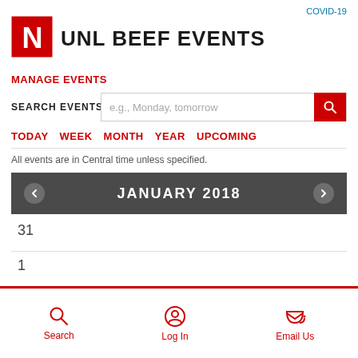COVID-19
[Figure (logo): University of Nebraska red N logo]
UNL BEEF EVENTS
MANAGE EVENTS
SEARCH EVENTS  e.g., Monday, tomorrow
TODAY  WEEK  MONTH  YEAR  UPCOMING
All events are in Central time unless specified.
JANUARY 2018
31
1
Search  Log In  Email Us